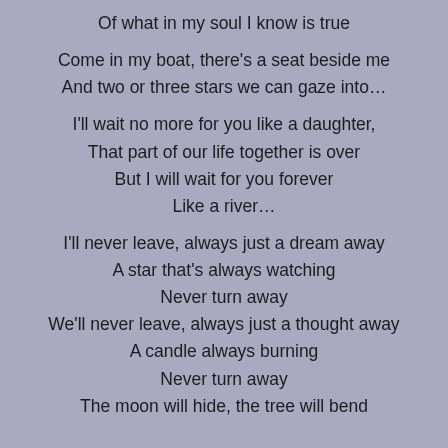Of what in my soul I know is true
Come in my boat, there’s a seat beside me
And two or three stars we can gaze into…
I’ll wait no more for you like a daughter,
That part of our life together is over
But I will wait for you forever
Like a river…
I’ll never leave, always just a dream away
A star that’s always watching
Never turn away
We’ll never leave, always just a thought away
A candle always burning
Never turn away
The moon will hide, the tree will bend